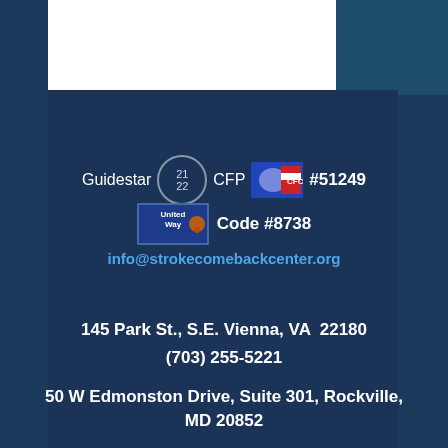[Figure (logo): Guidestar 21/22 seal badge, CFC logo with flag design, #51249 text, United Way logo badge, Code #8738 text]
info@strokecomebackcenter.org
145 Park St., S.E. Vienna, VA  22180
(703) 255-5221
50 W Edmonston Drive, Suite 301, Rockville, MD 20852